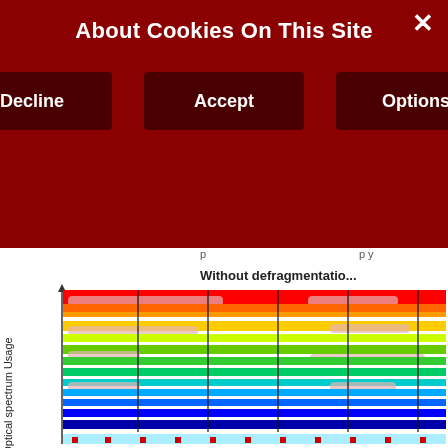About Cookies On This Site
Decline
Accept
Options
[Figure (other): Optical spectrum usage diagram titled 'Without defragmentation' showing a rainbow-colored spectral allocation chart with white horizontal bands representing free slots and colored regions showing allocated spectrum. Various gray rounded-rectangle labels overlay the spectrum. A y-axis label reads 'Optical spectrum Usage' with an upward arrow. The bottom shows a row with red square markers.]